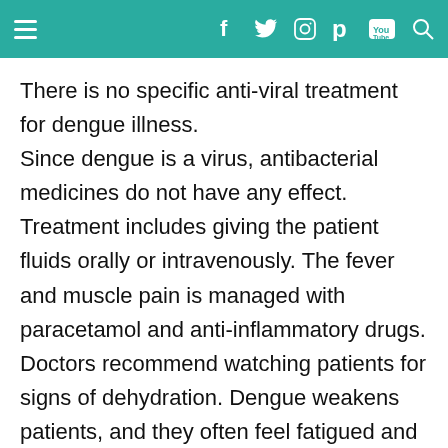Navigation bar with menu, facebook, twitter, instagram, pinterest, youtube, search icons
There is no specific anti-viral treatment for dengue illness. Since dengue is a virus, antibacterial medicines do not have any effect. Treatment includes giving the patient fluids orally or intravenously. The fever and muscle pain is managed with paracetamol and anti-inflammatory drugs. Doctors recommend watching patients for signs of dehydration. Dengue weakens patients, and they often feel fatigued and